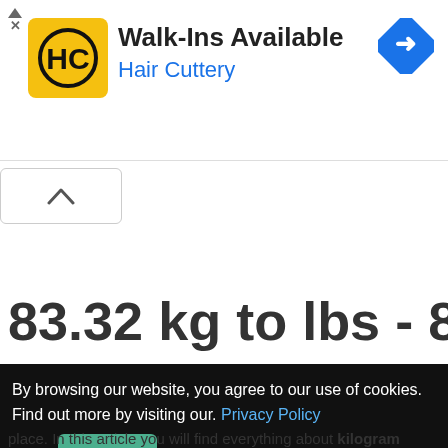[Figure (screenshot): Advertisement banner for Hair Cuttery with yellow HC logo, text 'Walk-Ins Available' and 'Hair Cuttery', and a blue navigation arrow icon on the right.]
83.32 kg to lbs - 83.32
By browsing our website, you agree to our use of cookies. Find out more by visiting our. Privacy Policy here. Accept
place. In this article you will find everything about kilogram